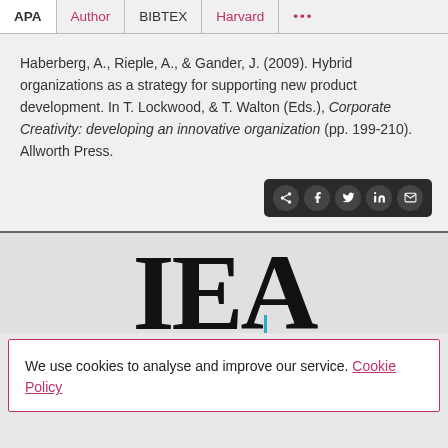APA  Author  BIBTEX  Harvard  ...
Haberberg, A., Rieple, A., & Gander, J. (2009). Hybrid organizations as a strategy for supporting new product development. In T. Lockwood, & T. Walton (Eds.), Corporate Creativity: developing an innovative organization (pp. 199-210). Allworth Press.
[Figure (screenshot): Social share icons bar with share, Facebook, Twitter, LinkedIn, and email icons on dark background]
[Figure (logo): Partial IEA or similar organization logo in large serif bold font with a blue cursor element]
We use cookies to analyse and improve our service. Cookie Policy